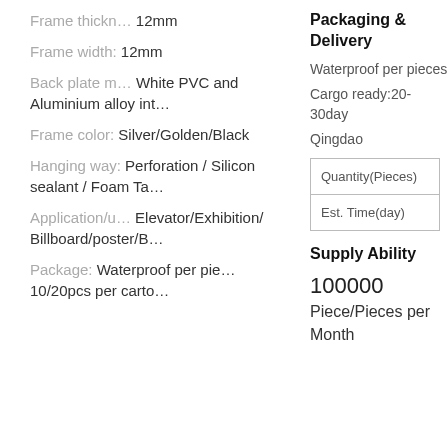Frame thickn…  12mm
Frame width:    12mm
Back plate m…  White PVC and
Aluminium alloy int…
Frame color:    Silver/Golden/Black
Hanging way:  Perforation / Silicon sealant / Foam Ta…
Application/u…  Elevator/Exhibition/
Billboard/poster/B…
Package:        Waterproof per pie…
10/20pcs per carto…
Packaging & Delivery
Waterproof per pieces
Cargo ready:20-30day
Qingdao
| Quantity(Pieces) | Est. Time(day) |
| --- | --- |
Supply Ability
100000
Piece/Pieces per Month